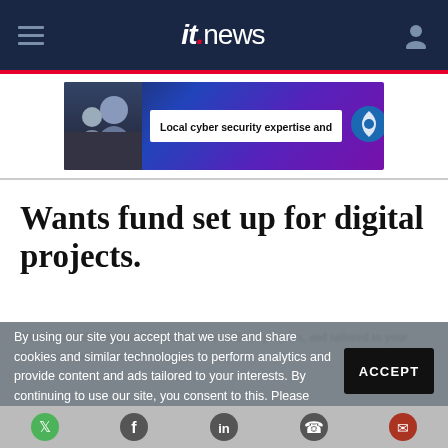itnews
[Figure (screenshot): Advertisement banner: Local cyber security expertise and Telstra logo]
Wants fund set up for digital projects.
By using our site you accept that we use and share cookies and similar technologies to perform analytics and provide content and ads tailored to your interests. By continuing to use our site, you consent to this. Please see our Cookie Policy for more information.